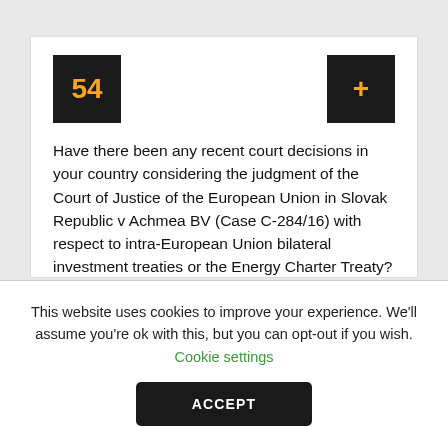54
Have there been any recent court decisions in your country considering the judgment of the Court of Justice of the European Union in Slovak Republic v Achmea BV (Case C-284/16) with respect to intra-European Union bilateral investment treaties or the Energy Charter Treaty? Are there any pending decisions?
This website uses cookies to improve your experience. We'll assume you're ok with this, but you can opt-out if you wish. Cookie settings
ACCEPT